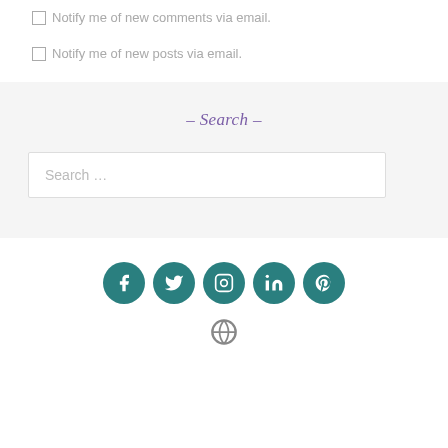Notify me of new comments via email.
Notify me of new posts via email.
– Search –
Search …
[Figure (illustration): Row of five teal circular social media icons: Facebook, Twitter, Instagram, LinkedIn, Pinterest]
[Figure (logo): WordPress logo icon at bottom center]